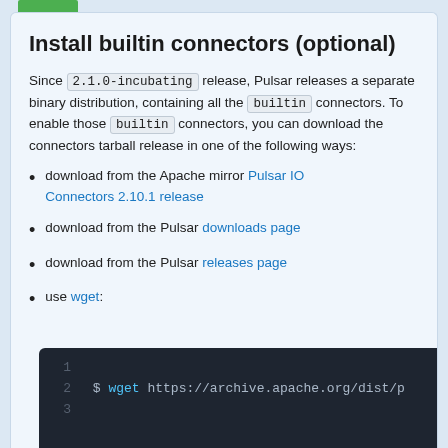Install builtin connectors (optional)
Since 2.1.0-incubating release, Pulsar releases a separate binary distribution, containing all the builtin connectors. To enable those builtin connectors, you can download the connectors tarball release in one of the following ways:
download from the Apache mirror Pulsar IO Connectors 2.10.1 release
download from the Pulsar downloads page
download from the Pulsar releases page
use wget:
[Figure (screenshot): Dark code block showing terminal command: $ wget https://archive.apache.org/dist/p with line numbers 1, 2, 3]